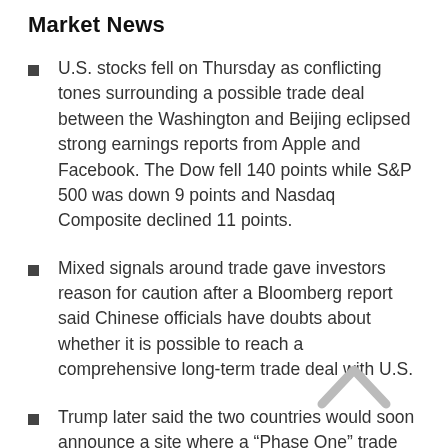Market News
U.S. stocks fell on Thursday as conflicting tones surrounding a possible trade deal between the Washington and Beijing eclipsed strong earnings reports from Apple and Facebook. The Dow fell 140 points while S&P 500 was down 9 points and Nasdaq Composite declined 11 points.
Mixed signals around trade gave investors reason for caution after a Bloomberg report said Chinese officials have doubts about whether it is possible to reach a comprehensive long-term trade deal with U.S.
Trump later said the two countries would soon announce a site where a “Phase One” trade deal will be signed after Chile cancelled a planned summit for mid-November that...